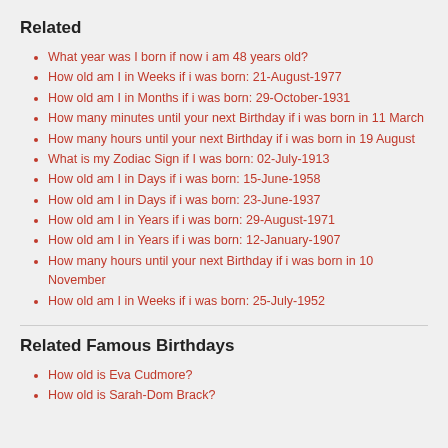Related
What year was I born if now i am 48 years old?
How old am I in Weeks if i was born: 21-August-1977
How old am I in Months if i was born: 29-October-1931
How many minutes until your next Birthday if i was born in 11 March
How many hours until your next Birthday if i was born in 19 August
What is my Zodiac Sign if I was born: 02-July-1913
How old am I in Days if i was born: 15-June-1958
How old am I in Days if i was born: 23-June-1937
How old am I in Years if i was born: 29-August-1971
How old am I in Years if i was born: 12-January-1907
How many hours until your next Birthday if i was born in 10 November
How old am I in Weeks if i was born: 25-July-1952
Related Famous Birthdays
How old is Eva Cudmore?
How old is Sarah-Dom Brack?